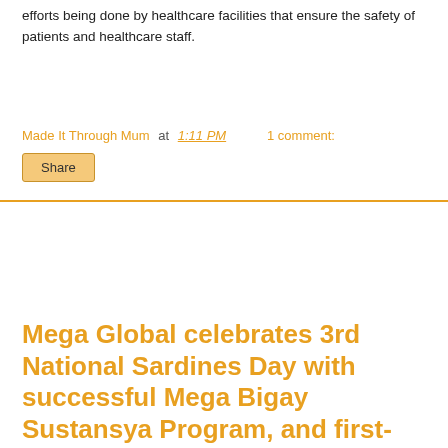efforts being done by healthcare facilities that ensure the safety of patients and healthcare staff.
Made It Through Mum at 1:11 PM    1 comment:
Share
Mega Global celebrates 3rd National Sardines Day with successful Mega Bigay Sustansya Program, and first-ever Mega Sardines Piso Sale
As the Philippines marks this year's National Sardines Day,